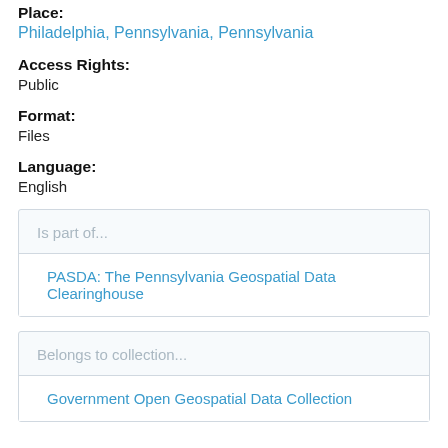Place:
Philadelphia, Pennsylvania, Pennsylvania
Access Rights:
Public
Format:
Files
Language:
English
Is part of...
PASDA: The Pennsylvania Geospatial Data Clearinghouse
Belongs to collection...
Government Open Geospatial Data Collection